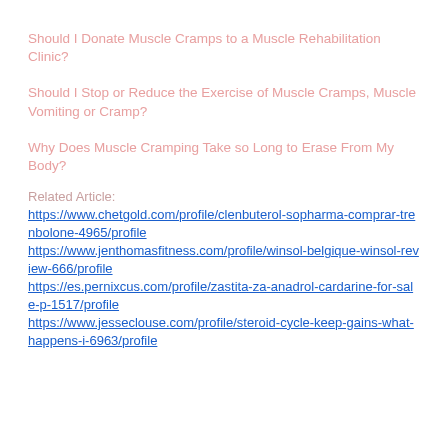Should I Donate Muscle Cramps to a Muscle Rehabilitation Clinic?
Should I Stop or Reduce the Exercise of Muscle Cramps, Muscle Vomiting or Cramp?
Why Does Muscle Cramping Take so Long to Erase From My Body?
Related Article:
https://www.chetgold.com/profile/clenbuterol-sopharma-comprar-trenbolone-4965/profile
https://www.jenthomasfitness.com/profile/winsol-belgique-winsol-review-666/profile
https://es.pernixcus.com/profile/zastita-za-anadrol-cardarine-for-sale-p-1517/profile
https://www.jesseclouse.com/profile/steroid-cycle-keep-gains-what-happens-i-6963/profile